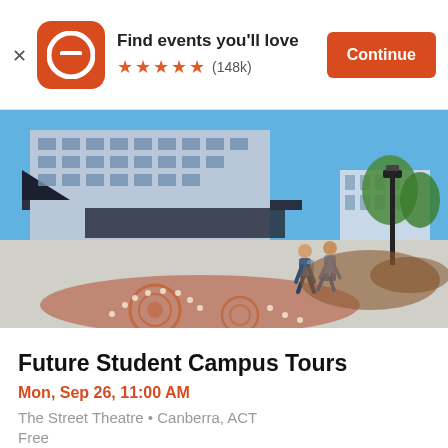Find events you'll love ★★★★★ (148k) Continue
[Figure (photo): Outdoor campus scene with a large modern university building, people walking on a paved plaza with decorative Indigenous artwork on the ground, blue sky, lamp posts, and green trees in the background.]
Future Student Campus Tours
Mon, Sep 26, 11:00 AM
The Street Theatre • Canberra, ACT
Free